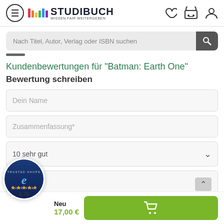[Figure (logo): Studibuch logo with colorful bars and tagline WISSEN.FAIR WEITERGEBEN]
Nach Titel, Autor, Verlag oder ISBN suchen
Kundenbewertungen für "Batman: Earth One"
Bewertung schreiben
Dein Name
Zusammenfassung*
10 sehr gut
Meinung
[Figure (logo): Trusted Shops guarantee seal with 4.76 rating and 5 stars]
Neu
17,00 €